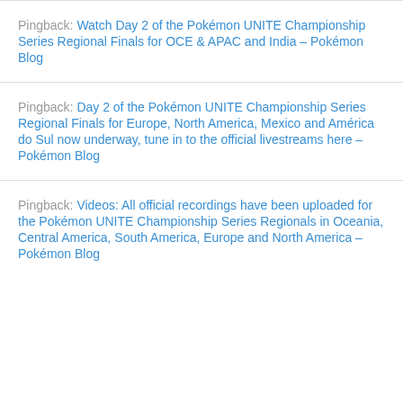Pingback: Watch Day 2 of the Pokémon UNITE Championship Series Regional Finals for OCE & APAC and India – Pokémon Blog
Pingback: Day 2 of the Pokémon UNITE Championship Series Regional Finals for Europe, North America, Mexico and América do Sul now underway, tune in to the official livestreams here – Pokémon Blog
Pingback: Videos: All official recordings have been uploaded for the Pokémon UNITE Championship Series Regionals in Oceania, Central America, South America, Europe and North America – Pokémon Blog